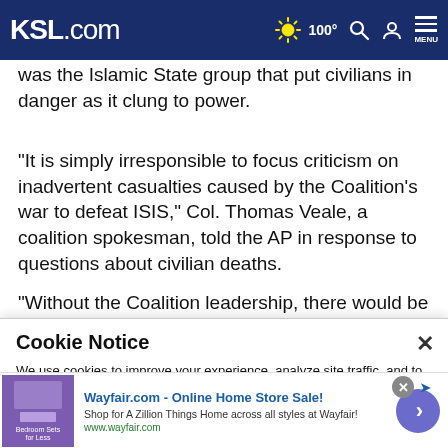KSL.com | 100° | Search | Account | Menu
was the Islamic State group that put civilians in danger as it clung to power.
"It is simply irresponsible to focus criticism on inadvertent casualties caused by the Coalition's war to defeat ISIS," Col. Thomas Veale, a coalition spokesman, told the AP in response to questions about civilian deaths.
"Without the Coalition leadership ...
Cookie Notice

We use cookies to improve your experience, analyze site traffic, and to personalize content and ads. By continuing to use our site, you consent to our use of cookies. Please visit our Terms of Use and Privacy Policy for more information.
[Figure (screenshot): Wayfair.com advertisement banner: 'Wayfair.com - Online Home Store Sale! Shop for A Zillion Things Home across all styles at Wayfair! www.wayfair.com' with a purple thumbnail showing bedroom furniture and a circular arrow button.]